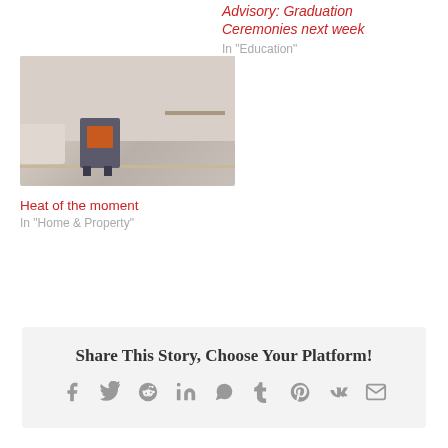Advisory: Graduation Ceremonies next week
In "Education"
[Figure (photo): Living room interior with a grey wood-burning stove, white sofa, and light wooden floor]
Heat of the moment
In "Home & Property"
Share This Story, Choose Your Platform!
Social media share icons: Facebook, Twitter, Reddit, LinkedIn, WhatsApp, Tumblr, Pinterest, VK, Email